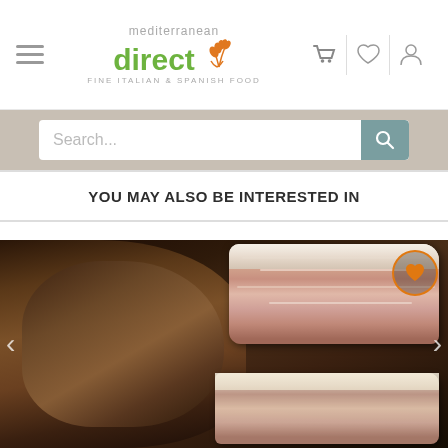[Figure (screenshot): Mediterranean Direct website header with hamburger menu, logo (mediterranean direct - Fine Italian & Spanish Food), and nav icons (cart, heart, person)]
[Figure (screenshot): Search bar on tan/beige background with placeholder text 'Search...' and teal search button]
YOU MAY ALSO BE INTERESTED IN
[Figure (photo): Close-up photo of cured meat product (appears to be a whole cured ham/coppa) showing exterior rind on left and sliced interior revealing pink/red marbled meat on right, on a dark background. Orange heart wishlist icon in top right. Left and right navigation arrows.]